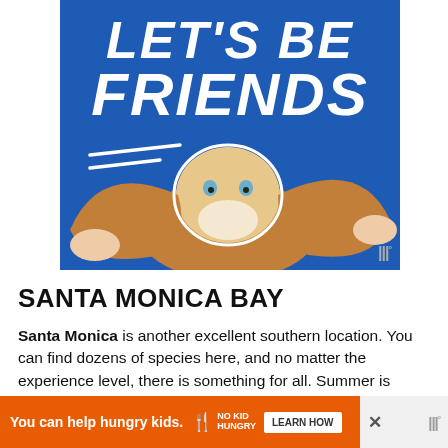[Figure (photo): Advertisement or promotional image on a blue background showing the text 'LET'S BE FRIENDS' in large white bold italic letters, with a basset hound dog whose ears are being stretched out wide by two hands, with white diagonal speed lines. A Weatherbug logo appears in the lower right corner of the image.]
SANTA MONICA BAY
Santa Monica is another excellent southern location. You can find dozens of species here, and no matter the experience level, there is something for all. Summer is particularly good for yellowtail and barracuda, but those who are f... l... bass o...
[Figure (other): Advertisement banner at bottom: orange background with 'You can help hungry kids.' text, No Kid Hungry logo/branding, and a 'LEARN HOW' button. An X close button and Weatherbug logo on the right.]